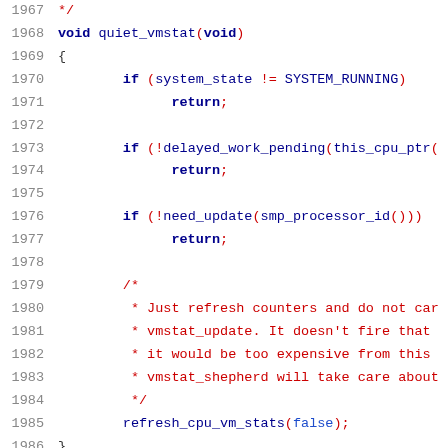Source code listing lines 1967-1988, C language, quiet_vmstat function